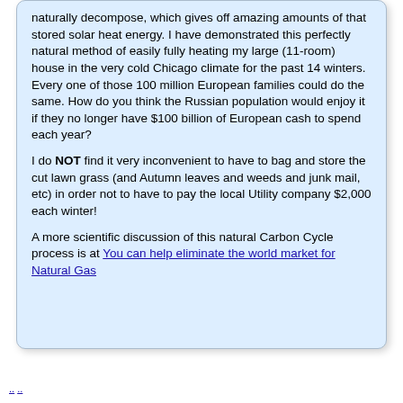naturally decompose, which gives off amazing amounts of that stored solar heat energy. I have demonstrated this perfectly natural method of easily fully heating my large (11-room) house in the very cold Chicago climate for the past 14 winters. Every one of those 100 million European families could do the same. How do you think the Russian population would enjoy it if they no longer have $100 billion of European cash to spend each year?
I do NOT find it very inconvenient to have to bag and store the cut lawn grass (and Autumn leaves and weeds and junk mail, etc) in order not to have to pay the local Utility company $2,000 each winter!
A more scientific discussion of this natural Carbon Cycle process is at You can help eliminate the world market for Natural Gas
.. ..